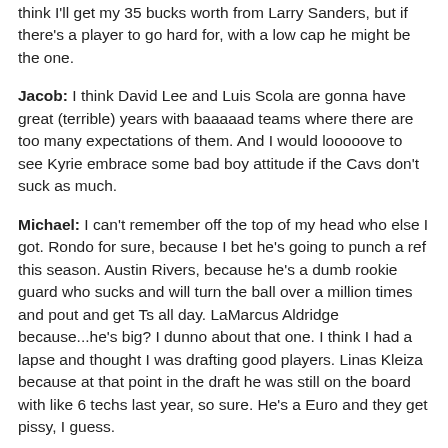think I'll get my 35 bucks worth from Larry Sanders, but if there's a player to go hard for, with a low cap he might be the one.
Jacob: I think David Lee and Luis Scola are gonna have great (terrible) years with baaaaad teams where there are too many expectations of them. And I would looooove to see Kyrie embrace some bad boy attitude if the Cavs don't suck as much.
Michael: I can't remember off the top of my head who else I got. Rondo for sure, because I bet he's going to punch a ref this season. Austin Rivers, because he's a dumb rookie guard who sucks and will turn the ball over a million times and pout and get Ts all day. LaMarcus Aldridge because...he's big? I dunno about that one. I think I had a lapse and thought I was drafting good players. Linas Kleiza because at that point in the draft he was still on the board with like 6 techs last year, so sure. He's a Euro and they get pissy, I guess.
David: I'm sorry if I seem flip about it. I can no longer get